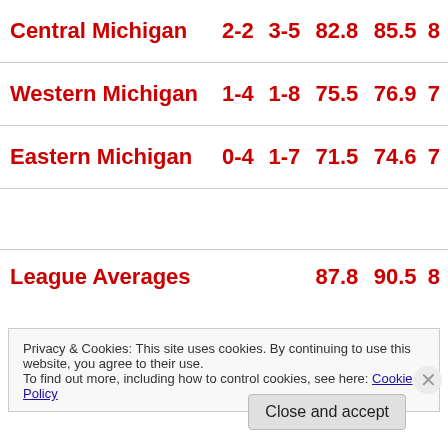| Team | Col1 | Col2 | Col3 | Col4 | Col5 |
| --- | --- | --- | --- | --- | --- |
| Central Michigan | 2-2 | 3-5 | 82.8 | 85.5 | 8 |
| Western Michigan | 1-4 | 1-8 | 75.5 | 76.9 | 7 |
| Eastern Michigan | 0-4 | 1-7 | 71.5 | 74.6 | 7 |
| League Averages |  |  | 87.8 | 90.5 | 8 |
Privacy & Cookies: This site uses cookies. By continuing to use this website, you agree to their use. To find out more, including how to control cookies, see here: Cookie Policy